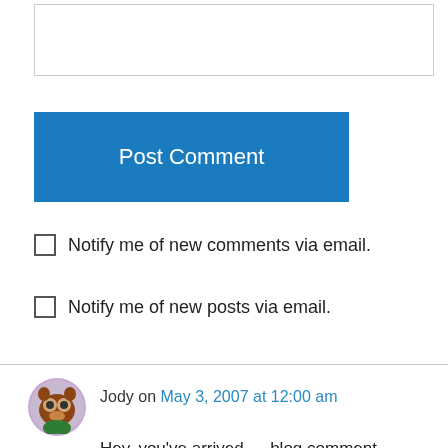[textarea input box]
Post Comment
Notify me of new comments via email.
Notify me of new posts via email.
Jody on May 3, 2007 at 12:00 am
Hey, you've arrived — blog comment spam!:-)Congratulations, that is GREAT news.In my experience, these are about the last weeks when you can see all of each baby in the scans. From here on out, there going to be crowding each other too much to get full views.For our 22